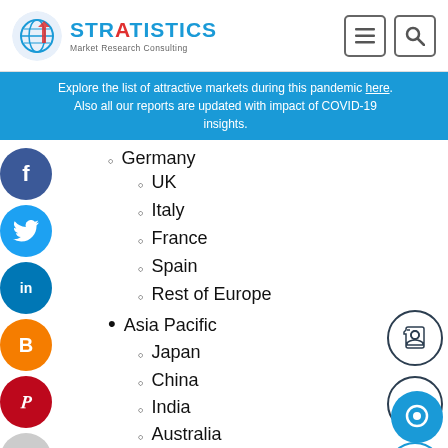Stratistics MRC - Market Research Consulting
Explore the list of attractive markets during this pandemic here. Also all our reports are updated with impact of COVID-19 insights.
Germany
UK
Italy
France
Spain
Rest of Europe
Asia Pacific
Japan
China
India
Australia
New Zealand
South Korea
Rest of Asia Pacific
South America